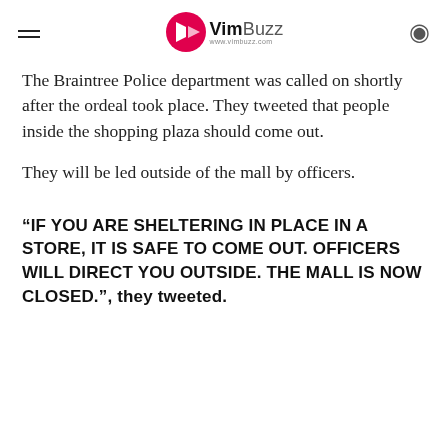VimBuzz www.vimbuzz.com
The Braintree Police department was called on shortly after the ordeal took place. They tweeted that people inside the shopping plaza should come out.
They will be led outside of the mall by officers.
“IF YOU ARE SHELTERING IN PLACE IN A STORE, IT IS SAFE TO COME OUT. OFFICERS WILL DIRECT YOU OUTSIDE. THE MALL IS NOW CLOSED.”, they tweeted.